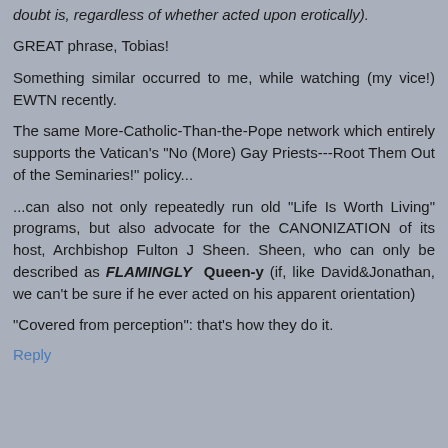doubt is, regardless of whether acted upon erotically).
GREAT phrase, Tobias!
Something similar occurred to me, while watching (my vice!) EWTN recently.
The same More-Catholic-Than-the-Pope network which entirely supports the Vatican's "No (More) Gay Priests---Root Them Out of the Seminaries!" policy...
...can also not only repeatedly run old "Life Is Worth Living" programs, but also advocate for the CANONIZATION of its host, Archbishop Fulton J Sheen. Sheen, who can only be described as FLAMINGLY Queen-y (if, like David&Jonathan, we can't be sure if he ever acted on his apparent orientation)
"Covered from perception": that's how they do it.
Reply